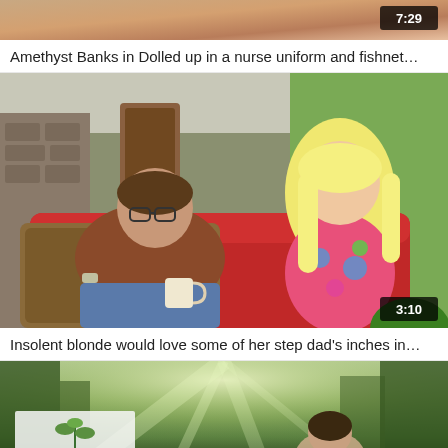[Figure (screenshot): Partial video thumbnail at top, skin tones visible, duration badge 7:29]
Amethyst Banks in Dolled up in a nurse uniform and fishnet...
[Figure (screenshot): Video thumbnail showing a man in brown shirt and jeans sitting on wicker chair with mug, and a blonde woman in floral dress on red sofa, outdoor patio setting, duration badge 3:10]
Insolent blonde would love some of her step dad's inches in...
[Figure (screenshot): Partial video thumbnail at bottom showing outdoor forest scene with light rays and figures]